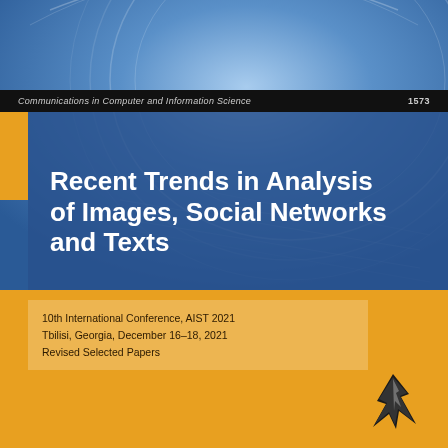Communications in Computer and Information Science    1573
Recent Trends in Analysis of Images, Social Networks and Texts
10th International Conference, AIST 2021
Tbilisi, Georgia, December 16–18, 2021
Revised Selected Papers
[Figure (illustration): Springer logo / bird silhouette at bottom right of book cover]